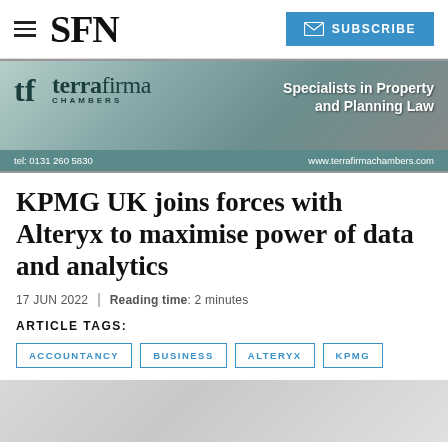SFN | SUBSCRIBE
[Figure (photo): Terra Firma Chambers advertisement banner. Shows logo with 'terra firma CHAMBERS', tagline 'Specialists in Property and Planning Law', tel: 0131 260 5830, www.terrafirmachambers.com. Background of stone building columns.]
KPMG UK joins forces with Alteryx to maximise power of data and analytics
17 JUN 2022 | Reading time: 2 minutes
ARTICLE TAGS:
ACCOUNTANCY
BUSINESS
ALTERYX
KPMG
[Figure (photo): Partial photo showing a modern interior space, bottom of page.]